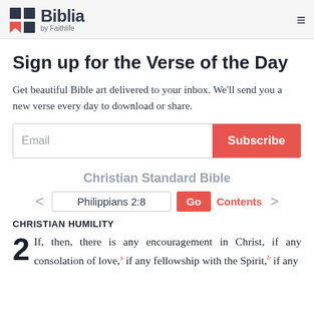Biblia by Faithlife
Sign up for the Verse of the Day
Get beautiful Bible art delivered to your inbox. We'll send you a new verse every day to download or share.
Email [input] Subscribe [button]
Christian Standard Bible
< Philippians 2:8 Go Contents >
CHRISTIAN HUMILITY
2 If, then, there is any encouragement in Christ, if any consolation of love,a if any fellowship with the Spirit,b if any